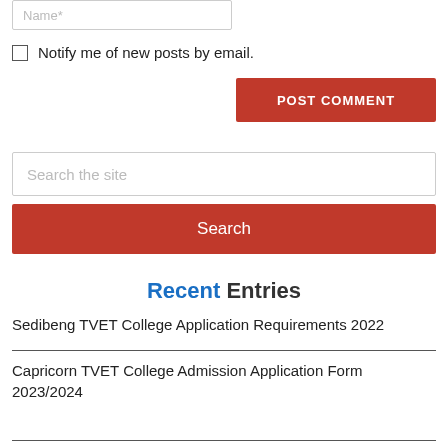Name*
Notify me of new posts by email.
POST COMMENT
Search the site
Search
Recent Entries
Sedibeng TVET College Application Requirements 2022
Capricorn TVET College Admission Application Form 2023/2024